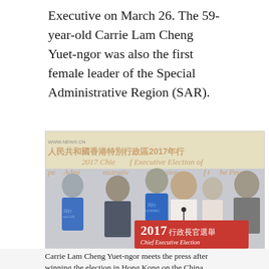Executive on March 26. The 59-year-old Carrie Lam Cheng Yuet-ngor was also the first female leader of the Special Administrative Region (SAR).
[Figure (photo): Carrie Lam Cheng Yuet-ngor speaking at a podium with a red sign reading '2017行政長官選舉 Chief Executive Election' at the 2017 Chief Executive Election of the Hong Kong Special Administrative Region. Several people stand behind her, some wearing blue campaign shirts.]
Carrie Lam Cheng Yuet-ngor meets the press after winning the election in Hong Kong on the China Mar...